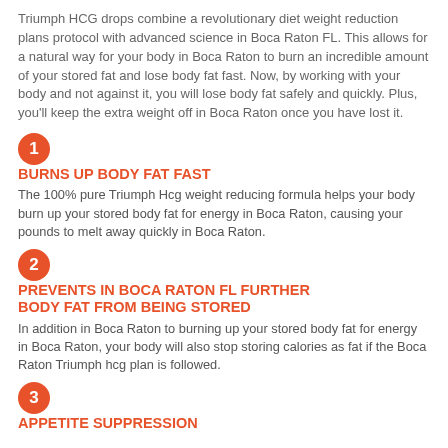Triumph HCG drops combine a revolutionary diet weight reduction plans protocol with advanced science in Boca Raton FL. This allows for a natural way for your body in Boca Raton to burn an incredible amount of your stored fat and lose body fat fast. Now, by working with your body and not against it, you will lose body fat safely and quickly. Plus, you'll keep the extra weight off in Boca Raton once you have lost it.
BURNS UP BODY FAT FAST
The 100% pure Triumph Hcg weight reducing formula helps your body burn up your stored body fat for energy in Boca Raton, causing your pounds to melt away quickly in Boca Raton.
PREVENTS IN BOCA RATON FL FURTHER BODY FAT FROM BEING STORED
In addition in Boca Raton to burning up your stored body fat for energy in Boca Raton, your body will also stop storing calories as fat if the Boca Raton Triumph hcg plan is followed.
APPETITE SUPPRESSION